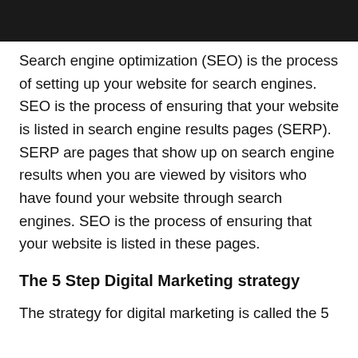[Figure (photo): Dark/black photo strip at top of page, partial view of a person]
Search engine optimization (SEO) is the process of setting up your website for search engines. SEO is the process of ensuring that your website is listed in search engine results pages (SERP). SERP are pages that show up on search engine results when you are viewed by visitors who have found your website through search engines. SEO is the process of ensuring that your website is listed in these pages.
The 5 Step Digital Marketing strategy
The strategy for digital marketing is called the 5